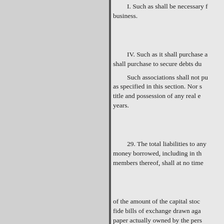I. Such as shall be necessary for its business.
IV. Such as it shall purchase and shall purchase to secure debts due.
Such associations shall not purchase as specified in this section. Nor shall title and possession of any real estate years.
29. The total liabilities to any money borrowed, including in the members thereof, shall at no time
of the amount of the capital stock fide bills of exchange drawn against paper actually owned by the person considered as money borrowed. discount Rate of interest. made, rate